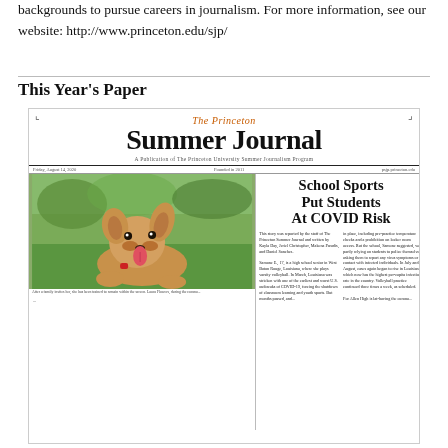backgrounds to pursue careers in journalism. For more information, see our website: http://www.princeton.edu/sjp/
This Year's Paper
[Figure (photo): Front page of The Princeton Summer Journal newspaper. The masthead reads 'The Princeton Summer Journal' with subtitle 'A Publication of The Princeton University Summer Journalism Program'. The front page shows a photo of a dog (puppy) lying on grass with its tongue out. The headline reads 'School Sports Put Students At COVID Risk'.]